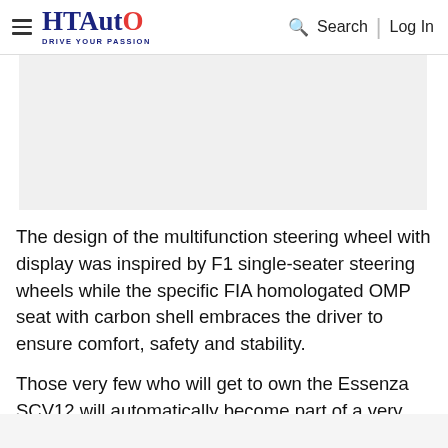HT Auto - Drive Your Passion | Search | Log In
[Figure (photo): Gray placeholder image area for an article photo]
The design of the multifunction steering wheel with display was inspired by F1 single-seater steering wheels while the specific FIA homologated OMP seat with carbon shell embraces the driver to ensure comfort, safety and stability.
Those very few who will get to own the Essenza SCV12 will automatically become part of a very exclusive club which would give them access to special programs to drive their